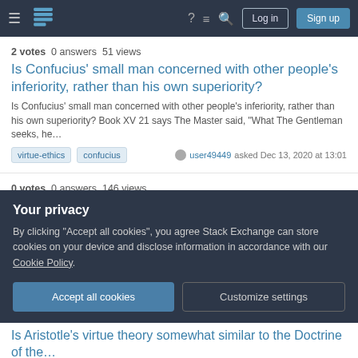Philosophy Stack Exchange navigation bar with logo, Log in, Sign up
2 votes  0 answers  51 views
Is Confucius' small man concerned with other people's inferiority, rather than his own superiority?
Is Confucius' small man concerned with other people's inferiority, rather than his own superiority? Book XV 21 says The Master said, "What The Gentleman seeks, he…
virtue-ethics
confucius
user49449 asked Dec 13, 2020 at 13:01
0 votes  0 answers  146 views
Is consequentialism compatible with deontology and virtue ethics?
I know normative ethics is traditionally divided into 3 main branches: deontology,
Your privacy

By clicking "Accept all cookies", you agree Stack Exchange can store cookies on your device and disclose information in accordance with our Cookie Policy.

Accept all cookies   Customize settings
Is Aristotle's virtue theory somewhat similar to the Doctrine of the…